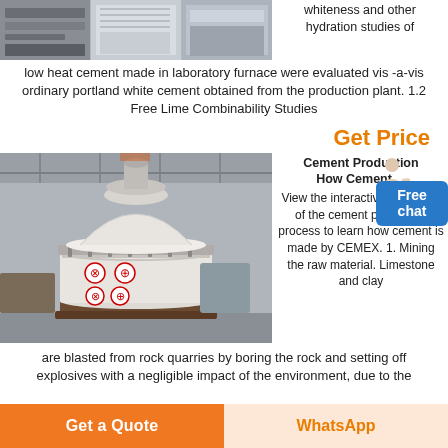[Figure (photo): Industrial machinery/factory interior photos displayed as a horizontal strip at the top left]
whiteness and other hydration studies of low heat cement made in laboratory furnace were evaluated vis -a-vis ordinary portland white cement obtained from the production plant. 1.2 Free Lime Combinability Studies
Get Price
[Figure (photo): Industrial cone crusher machine in a factory/warehouse setting]
Cement Production How Cement ... View the interactive animation of the cement production process to learn how cement is made by CEMEX. 1. Mining the raw material. Limestone and clay are blasted from rock quarries by boring the rock and setting off explosives with a negligible impact of the environment, due to the
Get a Quote
WhatsApp